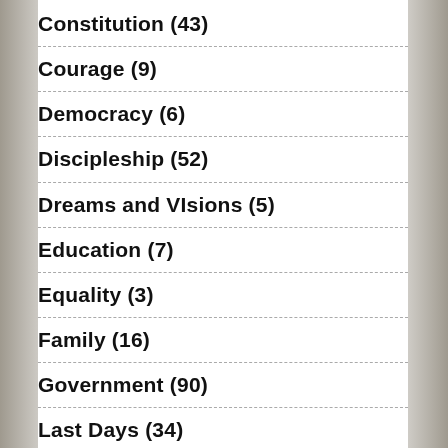Constitution (43)
Courage (9)
Democracy (6)
Discipleship (52)
Dreams and VIsions (5)
Education (7)
Equality (3)
Family (16)
Government (90)
Last Days (34)